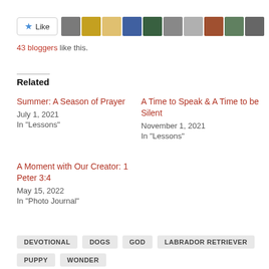[Figure (other): Like button with star icon and a row of blogger avatar thumbnails]
43 bloggers like this.
Related
Summer: A Season of Prayer
July 1, 2021
In "Lessons"
A Time to Speak & A Time to be Silent
November 1, 2021
In "Lessons"
A Moment with Our Creator: 1 Peter 3:4
May 15, 2022
In "Photo Journal"
DEVOTIONAL
DOGS
GOD
LABRADOR RETRIEVER
PUPPY
WONDER